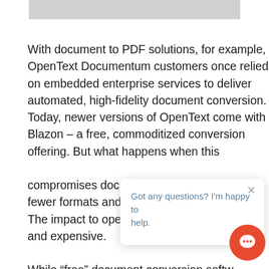[Figure (other): Grey banner/image bar at the top of the page]
With document to PDF solutions, for example, OpenText Documentum customers once relied on embedded enterprise services to deliver automated, high-fidelity document conversion. Today, newer versions of OpenText come with Blazon – a free, commoditized conversion offering. But what happens when this [partially obscured] compromises docu[ment fidelity, supports] fewer formats and [is less reliable?] The impact to oper[ations can be significant] and expensive.

While “free” document conversion softw[are] holds the promise of being cost-effective